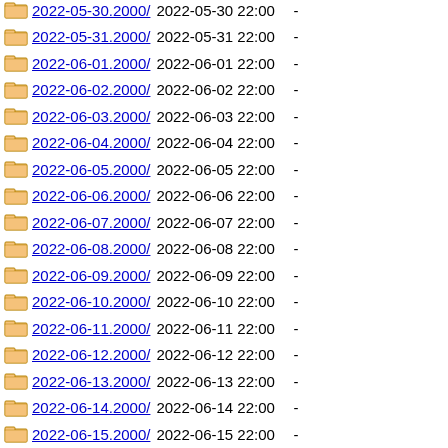2022-05-30.2000/ 2022-05-30 22:00 -
2022-05-31.2000/ 2022-05-31 22:00 -
2022-06-01.2000/ 2022-06-01 22:00 -
2022-06-02.2000/ 2022-06-02 22:00 -
2022-06-03.2000/ 2022-06-03 22:00 -
2022-06-04.2000/ 2022-06-04 22:00 -
2022-06-05.2000/ 2022-06-05 22:00 -
2022-06-06.2000/ 2022-06-06 22:00 -
2022-06-07.2000/ 2022-06-07 22:00 -
2022-06-08.2000/ 2022-06-08 22:00 -
2022-06-09.2000/ 2022-06-09 22:00 -
2022-06-10.2000/ 2022-06-10 22:00 -
2022-06-11.2000/ 2022-06-11 22:00 -
2022-06-12.2000/ 2022-06-12 22:00 -
2022-06-13.2000/ 2022-06-13 22:00 -
2022-06-14.2000/ 2022-06-14 22:00 -
2022-06-15.2000/ 2022-06-15 22:00 -